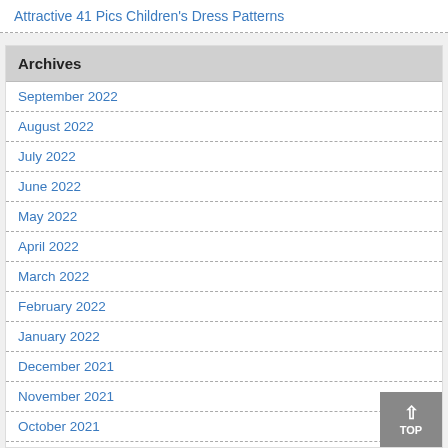Attractive 41 Pics Children's Dress Patterns
Archives
September 2022
August 2022
July 2022
June 2022
May 2022
April 2022
March 2022
February 2022
January 2022
December 2021
November 2021
October 2021
September 2021
August 2021
July 2021
June 2021